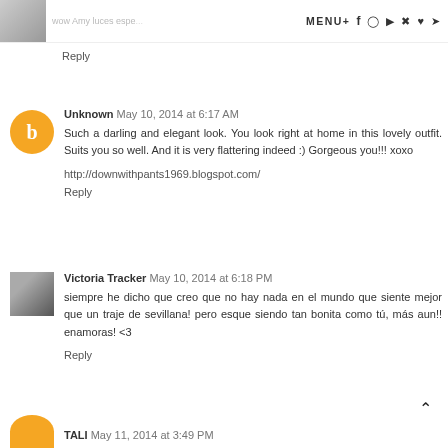wow Amy luces espe... MENU+ [social icons]
Reply
Unknown May 10, 2014 at 6:17 AM
Such a darling and elegant look. You look right at home in this lovely outfit. Suits you so well. And it is very flattering indeed :) Gorgeous you!!! xoxo
http://downwithpants1969.blogspot.com/
Reply
Victoria Tracker May 10, 2014 at 6:18 PM
siempre he dicho que creo que no hay nada en el mundo que siente mejor que un traje de sevillana! pero esque siendo tan bonita como tú, más aun!! enamoras! <3
Reply
TALI May 11, 2014 at 3:49 PM